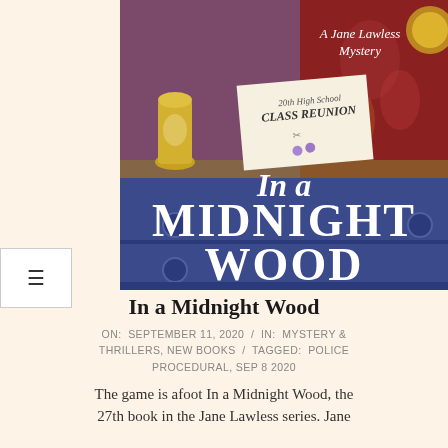[Figure (illustration): Book cover of 'In a Midnight Wood' — A Jane Lawless Mystery. Shows a dark blue dresser/chest with the title text in large white serif letters. A class reunion card reading '20th High School CLASS REUNION' and a decorative vase are visible in the upper portion. Red ornate wallpaper in the background.]
In a Midnight Wood
ON: SEPTEMBER 11, 2020 / IN: MYSTERY & THRILLERS, NEW BOOKS / TAGGED: POLICE PROCEDURAL, SEP 8 2020
The game is afoot In a Midnight Wood, the 27th book in the Jane Lawless series. Jane